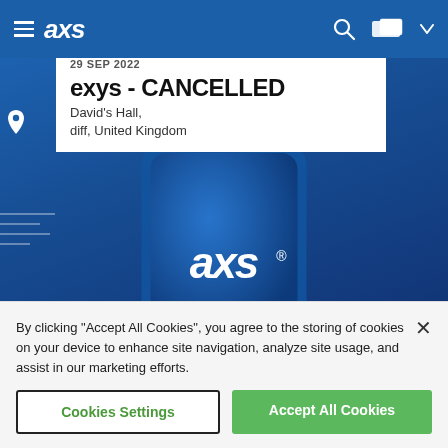AXS navigation bar with hamburger menu, AXS logo, search icon, and ticket icon
29 SEP 2022
exys - CANCELLED
David's Hall, Cardiff, United Kingdom
[Figure (screenshot): AXS app promotional banner showing 'your phone' text over a blue background with a phone device displaying the AXS logo]
By clicking "Accept All Cookies", you agree to the storing of cookies on your device to enhance site navigation, analyze site usage, and assist in our marketing efforts.
Cookies Settings
Accept All Cookies